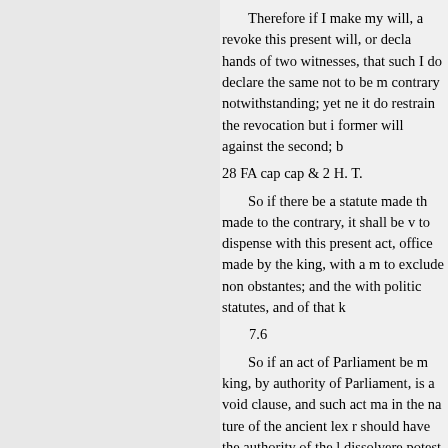Therefore if I make my will, a revoke this present will, or decla hands of two witnesses, that such I do declare the same not to be m contrary notwithstanding; yet ne it do restrain the revocation but i former will against the second; b
28 FA cap cap & 2 H. T.
So if there be a statute made th made to the contrary, it shall be v to dispense with this present act, office made by the king, with a n to exclude non obstantes; and the with politic statutes, and of that k
7.6
So if an act of Parliament be m king, by authority of Parliament, is a void clause, and such act ma in the na ture of the ancient lex r should have the authority of the l dissolvere potest, ligare non pote to save him alive, and to restrain